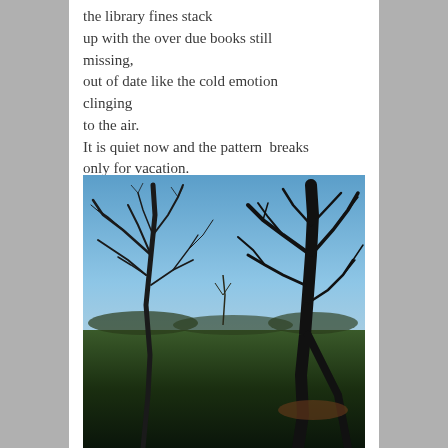the library fines stack up with the over due books still missing, out of date like the cold emotion clinging to the air. It is quiet now and the pattern  breaks only for vacation.
[Figure (photo): Outdoor photograph of bare winter trees with dark silhouetted branches against a blue sky, with a green lawn and distant treeline in the background.]